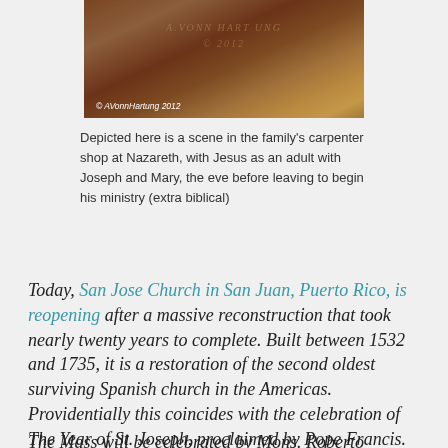[Figure (photo): Photograph of a woodcarving or painting showing a carpenter shop scene, with a copyright watermark '© AVonnHartung 2012' in the lower left corner and faint text 'A.VONN HARTUNG © 2012' overlaid on the image.]
Depicted here is a scene in the family's carpenter shop at Nazareth, with Jesus as an adult with Joseph and Mary, the eve before leaving to begin his ministry (extra biblical)
Today, San Jose Church in San Juan, Puerto Rico, is reopening after a massive reconstruction that took nearly twenty years to complete. Built between 1532 and 1735, it is a restoration of the second oldest surviving Spanish church in the Americas. Providentially this coincides with the celebration of The Year of St. Joseph, proclaimed by Pope Francis.
The Mass will be celebrated by Mons. Roberto